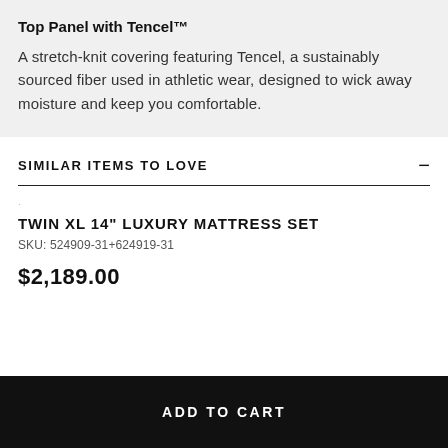Top Panel with Tencel™
A stretch-knit covering featuring Tencel, a sustainably sourced fiber used in athletic wear, designed to wick away moisture and keep you comfortable.
SIMILAR ITEMS TO LOVE
TWIN XL 14" LUXURY MATTRESS SET
SKU: 524909-31+624919-31
$2,189.00
ADD TO CART